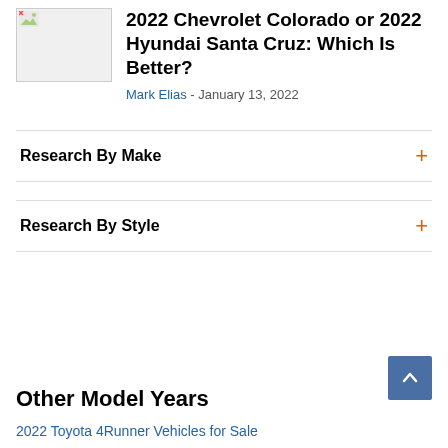[Figure (photo): Small thumbnail image placeholder with broken image icon]
2022 Chevrolet Colorado or 2022 Hyundai Santa Cruz: Which Is Better?
Mark Elias - January 13, 2022
Research By Make
Research By Style
Other Model Years
2022 Toyota 4Runner Vehicles for Sale